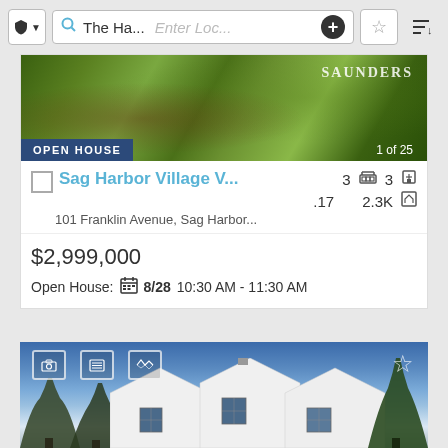[Figure (screenshot): Mobile app top navigation bar with shield icon, search bar showing 'The Ha...' and 'Enter Loc...' placeholder, plus button, star/favorites button, and sort button]
[Figure (photo): Green garden/landscaping photo with SAUNDERS watermark, OPEN HOUSE badge bottom left, '1 of 25' indicator bottom right]
Sag Harbor Village V...
101 Franklin Avenue, Sag Harbor...
3  3  .17  2.3K
$2,999,000
Open House: 8/28  10:30 AM - 11:30 AM
[Figure (photo): Second listing photo showing a white house with gabled roofline against a blue sky with bare trees, partial view]